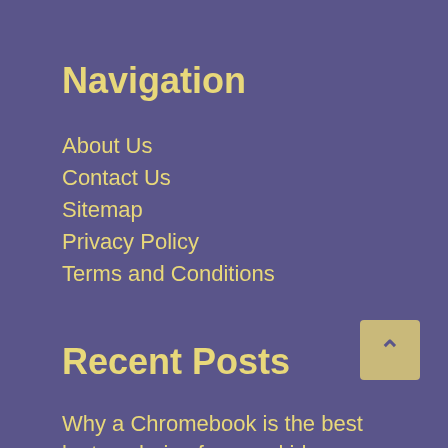Navigation
About Us
Contact Us
Sitemap
Privacy Policy
Terms and Conditions
Recent Posts
Why a Chromebook is the best laptop choice for your kids
The Famous Spanish People Individuals